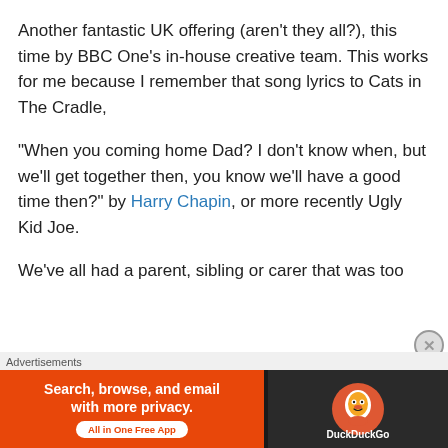Another fantastic UK offering (aren't they all?), this time by BBC One's in-house creative team. This works for me because I remember that song lyrics to Cats in The Cradle,
“When you coming home Dad? I don’t know when, but we’ll get together then, you know we’ll have a good time then?” by Harry Chapin, or more recently Ugly Kid Joe.
We've all had a parent, sibling or carer that was too busy to play with us, to read with us, jut to sit with us and chat. Life is busy! This is a simple and gorgeous story as we see a single Dad trying his best, and the daughter just keeps dancing and being happy and thinks that Dad
[Figure (screenshot): DuckDuckGo advertisement banner: orange background on left with text 'Search, browse, and email with more privacy.' and 'All in One Free App' button; dark background on right with DuckDuckGo duck logo]
Advertisements